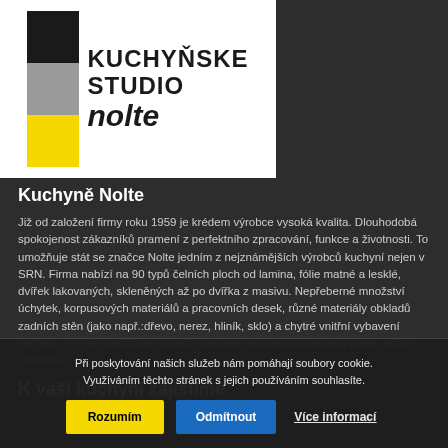[Figure (logo): Kuchyňské Studio Nolte logo with black, gray, and yellow colored squares on the left and text 'KUCHYŇSKE STUDIO nolte' on the right]
Kuchyně Nolte
Již od založení firmy roku 1959 je krédem výrobce vysoká kvalita. Dlouhodobá spokojenost zákazníků pramení z perfektního zpracování, funkce a životnosti. To umožňuje stát se značce Nolte jedním z nejznámějších výrobců kuchyní nejen v SRN. Firma nabízí na 90 typů čelních ploch od lamina, fólie matné a lesklé, dvířek lakovaných, skleněných až po dvířka z masivu. Nepřeberné množství úchytek, korpusových materiálů a pracovních desek, různé materiály obkladů zadních stěn (jako např.:dřevo, nerez, hliník, sklo) a chytré vnitřní vybavení skříněk – to vše umožňuje vytvořit originální designovou sestavu podle vašich představ.
K vaší kuchyni zajistíme
Při poskytování našich služeb nám pomáhají soubory cookie. Využíváním těchto stránek s jejich používáním souhlasíte.
Rozumím | Odmítnout | Více informací